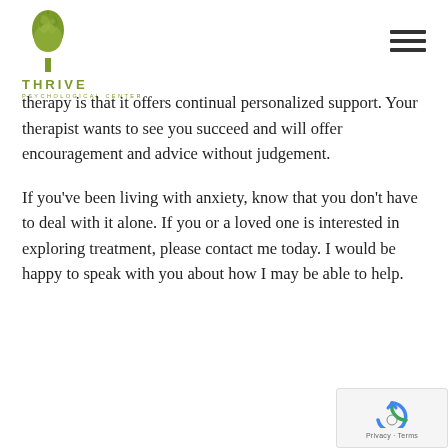[Figure (logo): Thrive Psychological Center logo with tree illustration, 'THRIVE' text in olive green, and 'PSYCHOLOGICAL CENTER' subtitle]
therapy is that it offers continual personalized support. Your therapist wants to see you succeed and will offer encouragement and advice without judgement.
If you've been living with anxiety, know that you don't have to deal with it alone. If you or a loved one is interested in exploring treatment, please contact me today. I would be happy to speak with you about how I may be able to help.